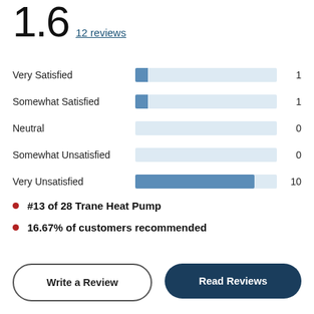1.6  12 reviews
[Figure (bar-chart): Satisfaction ratings]
#13 of 28 Trane Heat Pump
16.67% of customers recommended
Write a Review
Read Reviews